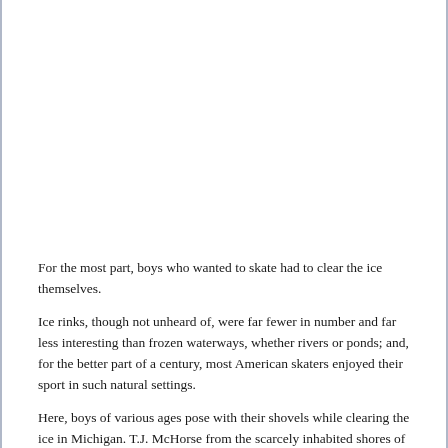For the most part, boys who wanted to skate had to clear the ice themselves.
Ice rinks, though not unheard of, were far fewer in number and far less interesting than frozen waterways, whether rivers or ponds; and, for the better part of a century, most American skaters enjoyed their sport in such natural settings.
Here, boys of various ages pose with their shovels while clearing the ice in Michigan. T.J. McHorse from the scarcely inhabited shores of credible